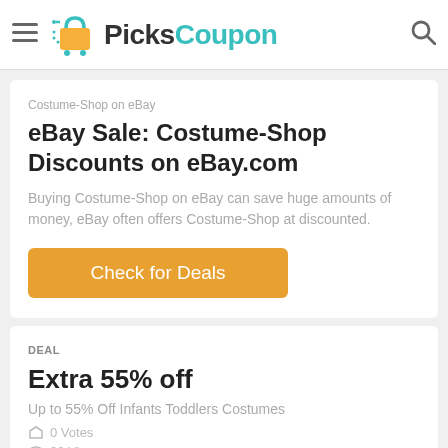PicksCoupon
Costume-Shop on eBay
eBay Sale: Costume-Shop Discounts on eBay.com
Buying Costume-Shop on eBay can save huge amounts of money, eBay often offers Costume-Shop at discounted.
Check for Deals
DEAL
Extra 55% off
Up to 55% Off Infants Toddlers Costumes
0 Votes
28 Views